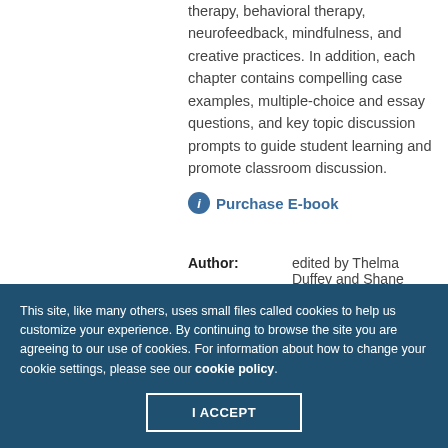therapy, behavioral therapy, neurofeedback, mindfulness, and creative practices. In addition, each chapter contains compelling case examples, multiple-choice and essay questions, and key topic discussion prompts to guide student learning and promote classroom discussion.
Purchase E-book
Author: edited by Thelma Duffey and Shane Haberstroh
This site, like many others, uses small files called cookies to help us customize your experience. By continuing to browse the site you are agreeing to our use of cookies. For information about how to change your cookie settings, please see our cookie policy.
I ACCEPT